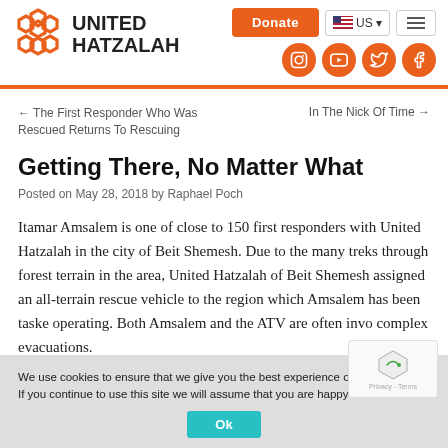UNITED HATZALAH
← The First Responder Who Was Rescued Returns To Rescuing
In The Nick Of Time →
Getting There, No Matter What
Posted on May 28, 2018 by Raphael Poch
Itamar Amsalem is one of close to 150 first responders with United Hatzalah in the city of Beit Shemesh. Due to the many treks through forest terrain in the area, United Hatzalah of Beit Shemesh assigned an all-terrain rescue vehicle to the region which Amsalem has been tasked operating. Both Amsalem and the ATV are often invo complex evacuations.
We use cookies to ensure that we give you the best experience on our website. If you continue to use this site we will assume that you are happy with it.